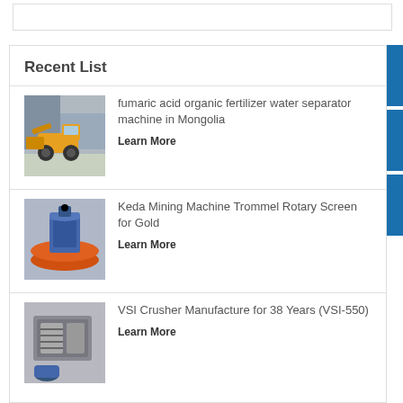Recent List
fumaric acid organic fertilizer water separator machine in Mongolia
Learn More
Keda Mining Machine Trommel Rotary Screen for Gold
Learn More
VSI Crusher Manufacture for 38 Years (VSI-550)
Learn More
[Figure (illustration): Blue support/headset icon button]
[Figure (illustration): Blue phone icon button]
[Figure (illustration): Blue Skype icon button]
[Figure (photo): Yellow front loader machine]
[Figure (photo): Mining trommel machine with orange basin]
[Figure (photo): VSI crusher industrial machine]